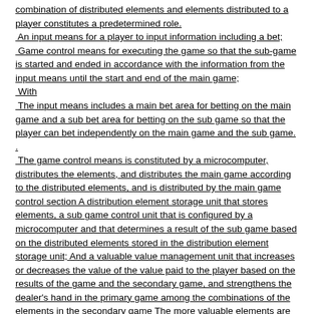combination of distributed elements and elements distributed to a player constitutes a predetermined role. An input means for a player to input information including a bet; Game control means for executing the game so that the sub-game is started and ended in accordance with the information from the input means until the start and end of the main game; With The input means includes a main bet area for betting on the main game and a sub bet area for betting on the sub game so that the player can bet independently on the main game and the sub game. . The game control means is constituted by a microcomputer, distributes the elements, and distributes the main game according to the distributed elements, and is distributed by the main game control section A distribution element storage unit that stores elements, a sub game control unit that is configured by a microcomputer and that determines a result of the sub game based on the distributed elements stored in the distribution element storage unit; And a valuable value management unit that increases or decreases the value of the value paid to the player based on the results of the game and the secondary game, and strengthens the dealer's hand in the primary game among the combinations of the elements in the secondary game The more valuable elements are included, the more valuable value paid to the player in the secondary game is increased